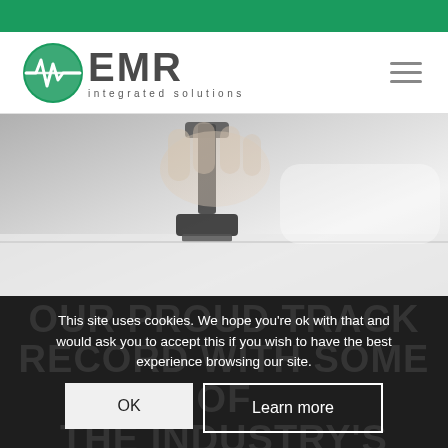[Figure (logo): EMR Integrated Solutions logo with green circle and waveform icon]
[Figure (photo): Close-up photo of a hand holding a rubber stamp over a surface, muted grey/white tones]
OUR PROUD TRACK RECORD WITH SOME OF THE INDUSTRY'S HIGHEST TECH HEALTH & SAFETY ACCREDITATIONS
This site uses cookies. We hope you're ok with that and would ask you to accept this if you wish to have the best experience browsing our site.
OK
Learn more